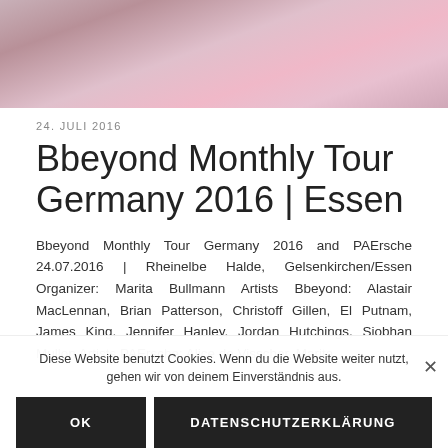[Figure (photo): Partial photo of people, pink inflatable/clothing visible at top of page]
24. JULI 2016
Bbeyond Monthly Tour Germany 2016 | Essen
Bbeyond Monthly Tour Germany 2016 and PAErsche 24.07.2016 | Rheinelbe Halde, Gelsenkirchen/Essen Organizer: Marita Bullmann Artists Bbeyond: Alastair MacLennan, Brian Patterson, Christoff Gillen, El Putnam, James King, Jennifer Hanley, Jordan Hutchings, Siobhan Mullon Artists PAErsche: Alice de Visscher, Marita
Diese Website benutzt Cookies. Wenn du die Website weiter nutzt, gehen wir von deinem Einverständnis aus.
OK
DATENSCHUTZERKLÄRUNG